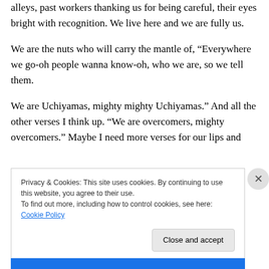alleys, past workers thanking us for being careful, their eyes bright with recognition. We live here and we are fully us.
We are the nuts who will carry the mantle of, “Everywhere we go-oh people wanna know-oh, who we are, so we tell them.
We are Uchiyamas, mighty mighty Uchiyamas.” And all the other verses I think up. “We are overcomers, mighty overcomers.” Maybe I need more verses for our lips and
Privacy & Cookies: This site uses cookies. By continuing to use this website, you agree to their use.
To find out more, including how to control cookies, see here: Cookie Policy
Close and accept